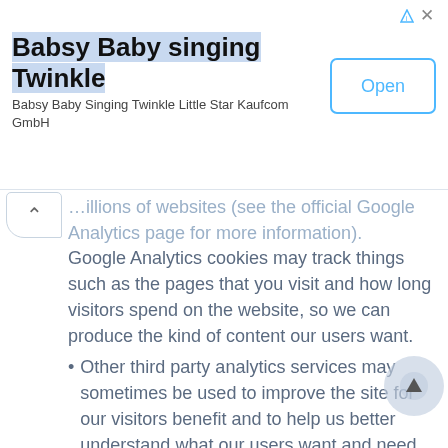[Figure (screenshot): Advertisement banner for 'Babsy Baby singing Twinkle' app by Kaufcom GmbH, with an Open button and close/info icons.]
…illions of websites (see the official Google Analytics page for more information). Google Analytics cookies may track things such as the pages that you visit and how long visitors spend on the website, so we can produce the kind of content our users want.
Other third party analytics services may sometimes be used to improve the site for our visitors benefit and to help us better understand what our users want and need.
Sometimes we test and experiment with new features. Cookies may be used to ensure that visitors get a consistent